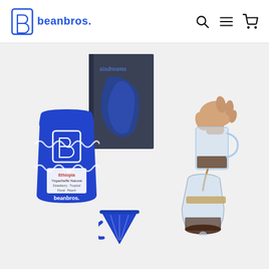beanbros. [logo with search, menu, cart icons]
[Figure (photo): Product photo showing a blue beanbros. coffee bag, a dark magazine/book titled 'sixdreams', a blue pour-over dripper, and a glass Chemex/carafe being poured by a hand, all on a white background.]